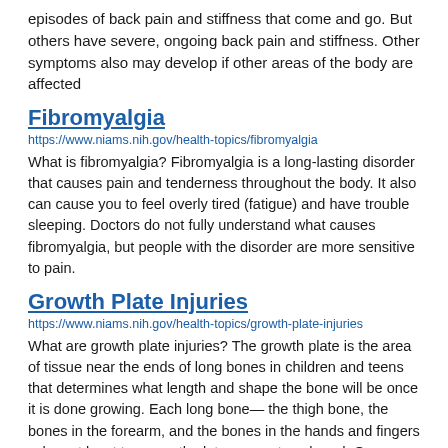episodes of back pain and stiffness that come and go. But others have severe, ongoing back pain and stiffness. Other symptoms also may develop if other areas of the body are affected
Fibromyalgia
https://www.niams.nih.gov/health-topics/fibromyalgia
What is fibromyalgia? Fibromyalgia is a long-lasting disorder that causes pain and tenderness throughout the body. It also can cause you to feel overly tired (fatigue) and have trouble sleeping. Doctors do not fully understand what causes fibromyalgia, but people with the disorder are more sensitive to pain.
Growth Plate Injuries
https://www.niams.nih.gov/health-topics/growth-plate-injuries
What are growth plate injuries? The growth plate is the area of tissue near the ends of long bones in children and teens that determines what length and shape the bone will be once it is done growing. Each long bone— the thigh bone, the bones in the forearm, and the bones in the hands and fingers—has at least two growth plates, one at each end. Once your child has finished growing, the growth plates close and are replaced by solid bone. The growth plates are weak areas of your child's growing skeleton, making it easier to injure them. Injuries